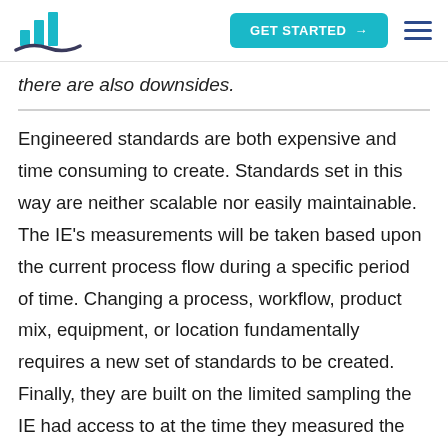GET STARTED →
there are also downsides.
Engineered standards are both expensive and time consuming to create. Standards set in this way are neither scalable nor easily maintainable. The IE's measurements will be taken based upon the current process flow during a specific period of time. Changing a process, workflow, product mix, equipment, or location fundamentally requires a new set of standards to be created. Finally, they are built on the limited sampling the IE had access to at the time they measured the process, and they do not factor in changing, dynamic workflow typical in today's operations.
Another potential problem is that there are many